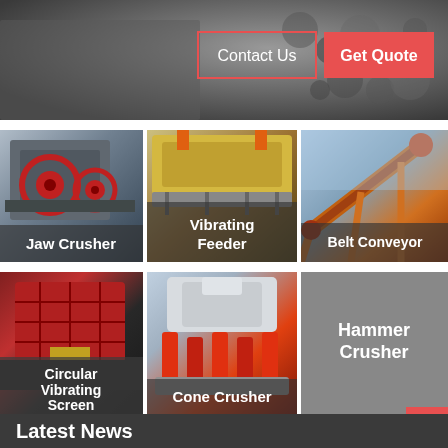[Figure (screenshot): Hero banner with dark rocky aggregate background showing 'Contact Us' outline button and 'Get Quote' filled red button]
[Figure (photo): Jaw Crusher product image with label overlay]
[Figure (photo): Vibrating Feeder product image with label overlay]
[Figure (photo): Belt Conveyor product image with label overlay]
[Figure (photo): Circular Vibrating Screen product image with label overlay]
[Figure (photo): Cone Crusher product image with label overlay]
[Figure (illustration): Hammer Crusher gray placeholder tile with label]
Latest News